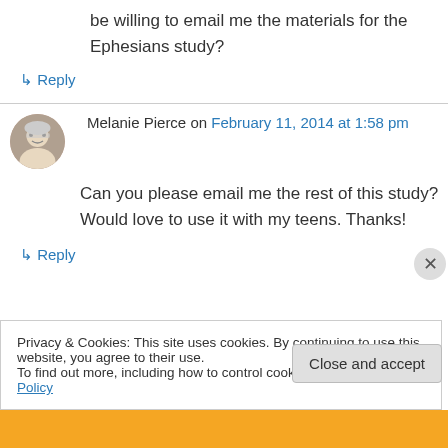be willing to email me the materials for the Ephesians study?
↳ Reply
Melanie Pierce on February 11, 2014 at 1:58 pm
Can you please email me the rest of this study? Would love to use it with my teens. Thanks!
↳ Reply
Privacy & Cookies: This site uses cookies. By continuing to use this website, you agree to their use. To find out more, including how to control cookies, see here: Cookie Policy
Close and accept